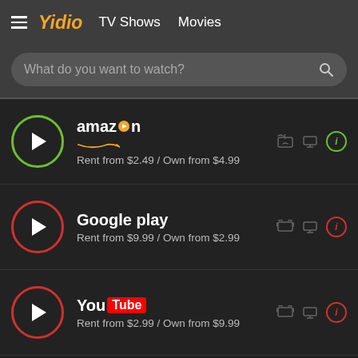Yidio  TV Shows  Movies
What do you want to watch?
amazon — Rent from $2.49 / Own from $4.99
Google play — Rent from $9.99 / Own from $2.99
YouTube — Rent from $2.99 / Own from $9.99
VUDU — Rent from $2.99 / Own from $9.99